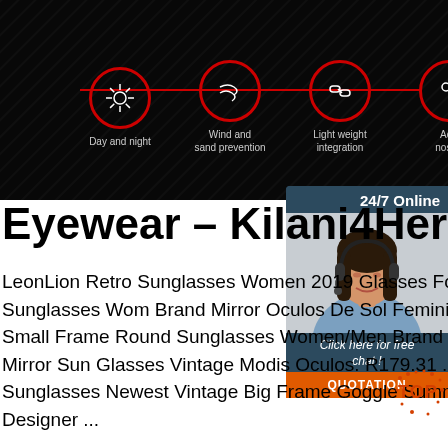[Figure (infographic): Dark banner with four circular icons on a red connector line: Day and night (sun/burst icon), Wind and sand prevention (wind icon), Light weight integration (chain/link icon), Adjustable nose support (partially visible icon)]
[Figure (photo): 24/7 Online chat widget overlay showing a woman wearing a headset, with 'Click here for free chat!' text and an orange QUOTATION button]
Eyewear – Kilani4Her
LeonLion Retro Sunglasses Women 2019 Glasses For Women Big Sunglasses Women Brand Mirror Oculos De Sol Feminino ... L Classic Small Frame Round Sunglasses Women/Men Brand Designer Alloy Mirror Sun Glasses Vintage Modis Oculos. R179.31 ... Men Women Sunglasses Newest Vintage Big Frame Goggle Summer Style Brand Designer ...